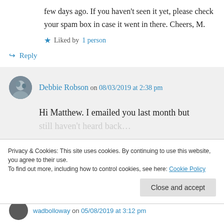few days ago. If you haven't seen it yet, please check your spam box in case it went in there. Cheers, M.
★ Liked by 1 person
↪ Reply
Debbie Robson on 08/03/2019 at 2:38 pm
Hi Matthew. I emailed you last month but still haven't heard back…
Privacy & Cookies: This site uses cookies. By continuing to use this website, you agree to their use.
To find out more, including how to control cookies, see here: Cookie Policy
Close and accept
wadbolloway on 05/08/2019 at 3:12 pm